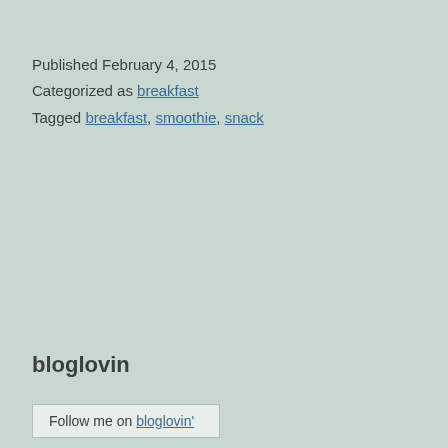Published February 4, 2015
Categorized as breakfast
Tagged breakfast, smoothie, snack
bloglovin
Follow me on bloglovin'